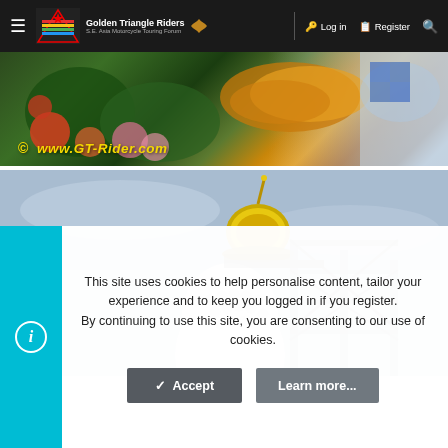Golden Triangle Riders | SE Asia Motorcycle Touring Forum | Log in | Register
[Figure (photo): Colorful decorative image with watermark text '© www.GT-Rider.com' in yellow italic text, showing floral/dragon decorations in green, red, orange and blue tones with a blue/gray background on the right side.]
[Figure (photo): Photo of a large white Buddha statue head with golden umbrella/finial on top, surrounded by metal scaffolding structure, against a pale blue-gray sky.]
This site uses cookies to help personalise content, tailor your experience and to keep you logged in if you register. By continuing to use this site, you are consenting to our use of cookies.
Accept
Learn more...